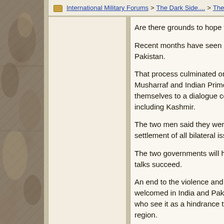International Military Forums > The Dark Side.... > The Hall of Sha...
Are there grounds to hope the K
Recent months have seen a big... Pakistan.
That process culminated on 6 J... Musharraf and Indian Prime Min... themselves to a dialogue coveri... including Kashmir.
The two men said they were "co... settlement of all bilateral issues...
The two governments will have ... talks succeed.
An end to the violence and unce... welcomed in India and Pakistan... who see it as a hindrance to eco... region.
Analysts say that Pakistan has a... Musharraf in December saying ... country's long-standing demand... Kashmir, as outlined in United N...